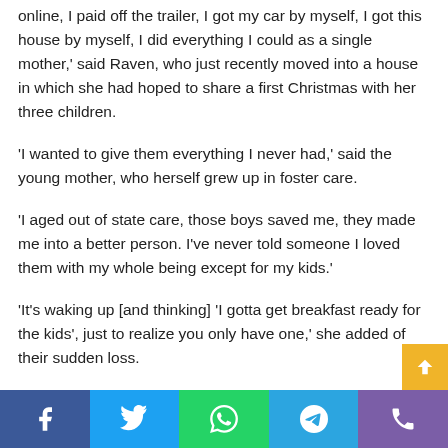online, I paid off the trailer, I got my car by myself, I got this house by myself, I did everything I could as a single mother,' said Raven, who just recently moved into a house in which she had hoped to share a first Christmas with her three children.
'I wanted to give them everything I never had,' said the young mother, who herself grew up in foster care.
'I aged out of state care, those boys saved me, they made me into a better person. I've never told someone I loved them with my whole being except for my kids.'
'It's waking up [and thinking] 'I gotta get breakfast ready for the kids', just to realize you only have one,' she added of their sudden loss.
Social share bar: Facebook, Twitter, WhatsApp, Telegram, Phone